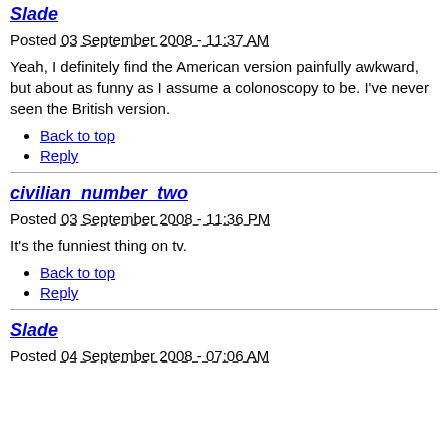Slade
Posted 03 September 2008 - 11:37 AM
Yeah, I definitely find the American version painfully awkward, but about as funny as I assume a colonoscopy to be. I've never seen the British version.
Back to top
Reply
civilian_number_two
Posted 03 September 2008 - 11:36 PM
It's the funniest thing on tv.
Back to top
Reply
Slade
Posted 04 September 2008 - 07:06 AM